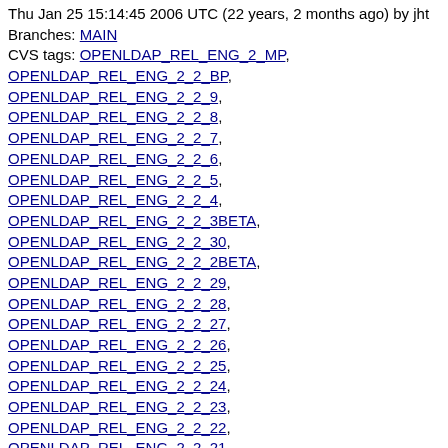Thu Jan 25 15:14:45 2006 UTC (22 years, 2 months ago) by jht
Branches: MAIN
CVS tags: OPENLDAP_REL_ENG_2_MP, OPENLDAP_REL_ENG_2_2_BP, OPENLDAP_REL_ENG_2_2_9, OPENLDAP_REL_ENG_2_2_8, OPENLDAP_REL_ENG_2_2_7, OPENLDAP_REL_ENG_2_2_6, OPENLDAP_REL_ENG_2_2_5, OPENLDAP_REL_ENG_2_2_4, OPENLDAP_REL_ENG_2_2_3BETA, OPENLDAP_REL_ENG_2_2_30, OPENLDAP_REL_ENG_2_2_2BETA, OPENLDAP_REL_ENG_2_2_29, OPENLDAP_REL_ENG_2_2_28, OPENLDAP_REL_ENG_2_2_27, OPENLDAP_REL_ENG_2_2_26, OPENLDAP_REL_ENG_2_2_25, OPENLDAP_REL_ENG_2_2_24, OPENLDAP_REL_ENG_2_2_23, OPENLDAP_REL_ENG_2_2_22, OPENLDAP_REL_ENG_2_2_21, OPENLDAP_REL_ENG_2_2_20, OPENLDAP_REL_ENG_2_2_1BETA, OPENLDAP_REL_ENG_2_2_19, OPENLDAP_REL_ENG_2_2_18